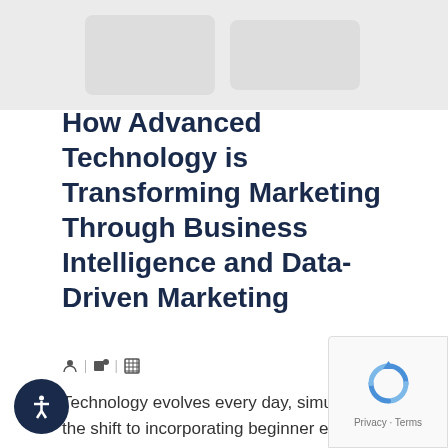[Figure (photo): Faint placeholder image at top of page]
How Advanced Technology is Transforming Marketing Through Business Intelligence and Data-Driven Marketing
🧑 | 🏷 | 📅
Technology evolves every day, simultaneously transforming the world around us. Many companies have made the shift to incorporating beginner elements like Google Analytics, but there are a lot of more advanced data tools ... As a business owner, you … Read More